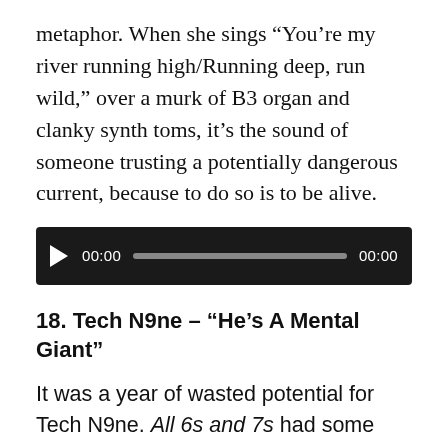metaphor. When she sings “You’re my river running high/Running deep, run wild,” over a murk of B3 organ and clanky synth toms, it’s the sound of someone trusting a potentially dangerous current, because to do so is to be alive.
[Figure (other): Audio player widget with play button, timestamp 00:00 on left, progress bar, and timestamp 00:00 on right, on a dark background.]
18. Tech N9ne – “He’s A Mental Giant”
It was a year of wasted potential for Tech N9ne. All 6s and 7s had some highlights, but was overlong. His buzzsaw of a guest spot was wasted on Lil Wayne’s underwhelming Tha Carter IV. But this track’s rumbling swagger cut through the clutter as well as anything in 2011, positioning this brilliant, tongue-twisting MC as the brainiac superhero we need to